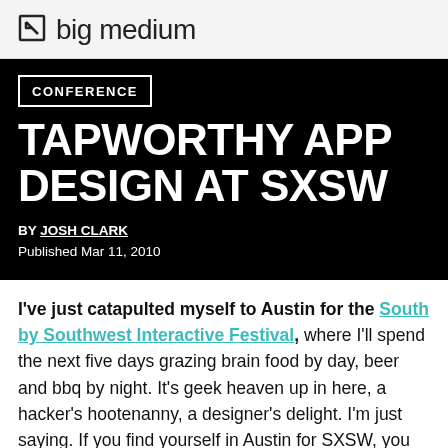big medium
CONFERENCE
TAPWORTHY APP DESIGN AT SXSW
BY JOSH CLARK
Published Mar 11, 2010
I've just catapulted myself to Austin for the South by Southwest Interactive Festival, where I'll spend the next five days grazing brain food by day, beer and bbq by night. It's geek heaven up in here, a hacker's hootenanny, a designer's delight. I'm just saying. If you find yourself in Austin for SXSW, you absolutely...